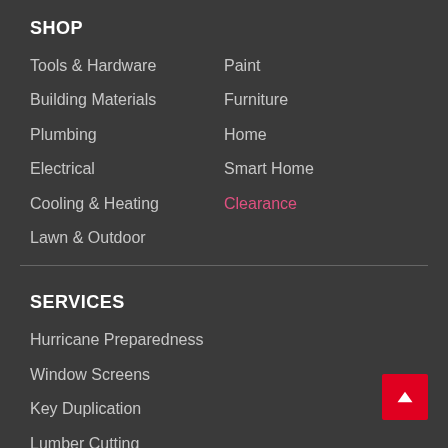SHOP
Tools & Hardware
Paint
Building Materials
Furniture
Plumbing
Home
Electrical
Smart Home
Cooling & Heating
Clearance
Lawn & Outdoor
SERVICES
Hurricane Preparedness
Window Screens
Key Duplication
Lumber Cutting
Jalousie Glass Cutting
Paint Matching
Door Cut Service